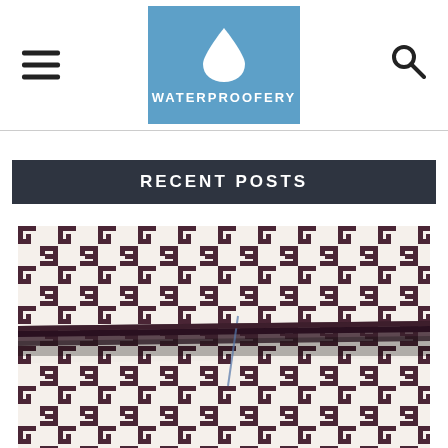WATERPROOFERY — website header with logo, hamburger menu, and search icon
RECENT POSTS
[Figure (photo): Close-up photograph of a folded outdoor rug or mat with a geometric maze/Greek key pattern in dark brown/purple and cream/white colors, showing the folded corner revealing the woven texture.]